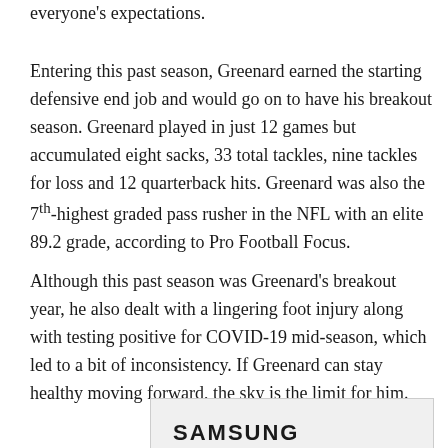everyone's expectations.
Entering this past season, Greenard earned the starting defensive end job and would go on to have his breakout season. Greenard played in just 12 games but accumulated eight sacks, 33 total tackles, nine tackles for loss and 12 quarterback hits. Greenard was also the 7th-highest graded pass rusher in the NFL with an elite 89.2 grade, according to Pro Football Focus.
Although this past season was Greenard's breakout year, he also dealt with a lingering foot injury along with testing positive for COVID-19 mid-season, which led to a bit of inconsistency. If Greenard can stay healthy moving forward, the sky is the limit for him.
[Figure (logo): Samsung logo in bold uppercase letters inside a light gray bordered box]